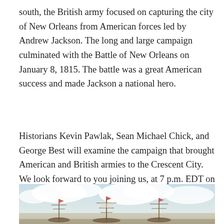south, the British army focused on capturing the city of New Orleans from American forces led by Andrew Jackson. The long and large campaign culminated with the Battle of New Orleans on January 8, 1815. The battle was a great American success and made Jackson a national hero.
Historians Kevin Pawlak, Sean Michael Chick, and George Best will examine the campaign that brought American and British armies to the Crescent City. We look forward to you joining us, at 7 p.m. EDT on our Facebook page for the next historian happy hour.
[Figure (illustration): A historical painting showing sailing ships with masts and flags under a pale sky with clouds, likely depicting a naval scene related to the Battle of New Orleans era.]